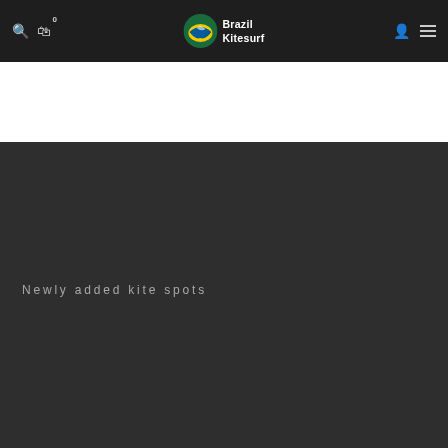Brazil Kitesurf
Newly added kite spots